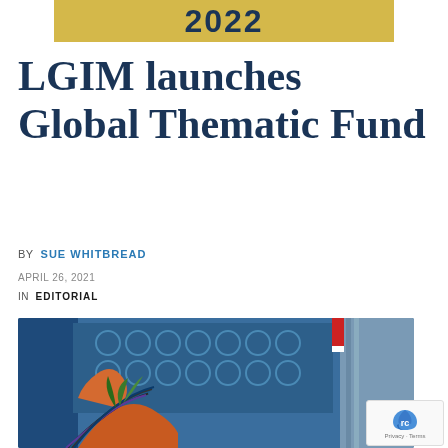2022
LGIM launches Global Thematic Fund
BY  SUE WHITBREAD
APRIL 26, 2021
IN  EDITORIAL
[Figure (photo): Industrial robotic arm with wiring and cables in a factory setting with blue machinery in the background]